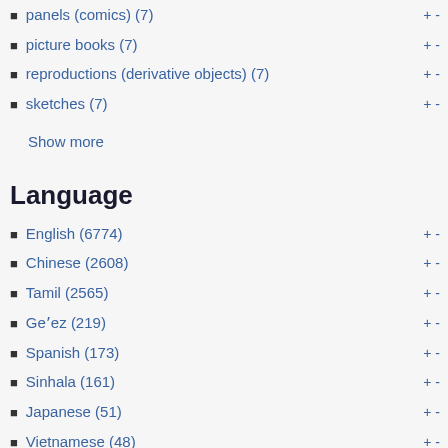panels (comics) (7)
picture books (7)
reproductions (derivative objects) (7)
sketches (7)
Show more
Language
English (6774)
Chinese (2608)
Tamil (2565)
Geʼez (219)
Spanish (173)
Sinhala (161)
Japanese (51)
Vietnamese (48)
German (38)
Italian (34)
Korean (29)
(26)
French (24)